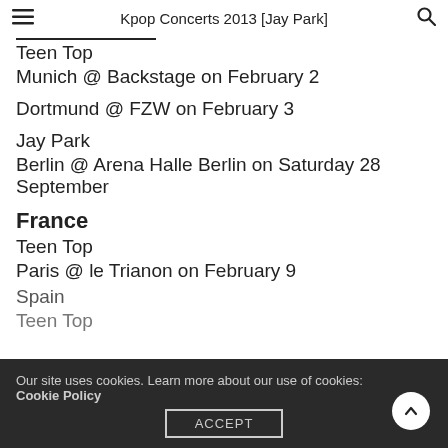Kpop Concerts 2013 [Jay Park]
Teen Top
Munich @ Backstage on February 2
Dortmund @ FZW on February 3
Jay Park
Berlin @ Arena Halle Berlin on Saturday 28 September
France
Teen Top
Paris @ le Trianon on February 9
Spain
Teen Top
Our site uses cookies. Learn more about our use of cookies: Cookie Policy
ACCEPT